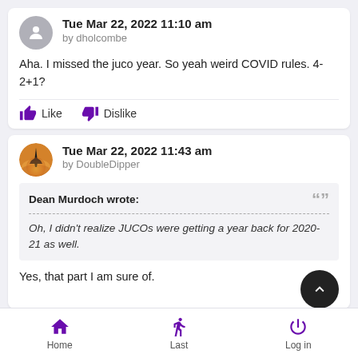Tue Mar 22, 2022 11:10 am by dholcombe
Aha. I missed the juco year. So yeah weird COVID rules. 4-2+1?
Like  Dislike
Tue Mar 22, 2022 11:43 am by DoubleDipper
Dean Murdoch wrote:
Oh, I didn't realize JUCOs were getting a year back for 2020-21 as well.
Yes, that part I am sure of.
Home  Last  Log in